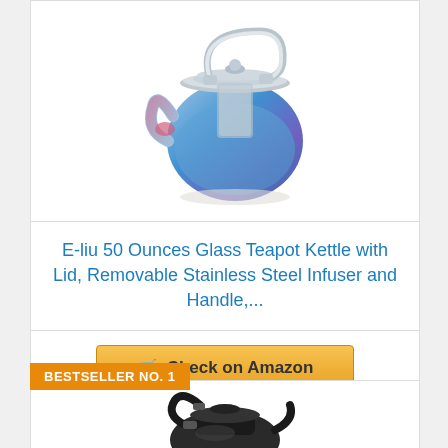[Figure (photo): Glass teapot kettle with stainless steel lid, infuser and handle, filled with blue/purple liquid]
E-liu 50 Ounces Glass Teapot Kettle with Lid, Removable Stainless Steel Infuser and Handle,...
Check on Amazon
BESTSELLER NO. 1
[Figure (photo): Black teapot or kettle product, partially visible at bottom of page]